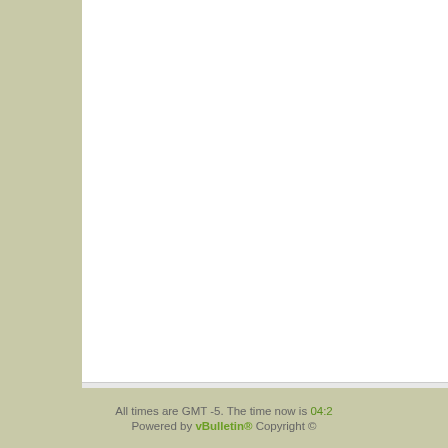By novaprop67 in forum 4-te...
Heres Some Photos of fr...
By ADAMBOMB in forum Yam...
some more observations...
By speedsterpimpin in forum...
Finally some pics of my s...
By ccassone in forum Kawas...
Some cool shots from my...
By javiert99 in forum Polaris G...
---- Lite GreenHulk    Select Language    Contact...
All times are GMT -5. The time now is 04:2... Powered by vBulletin® Copyright ©